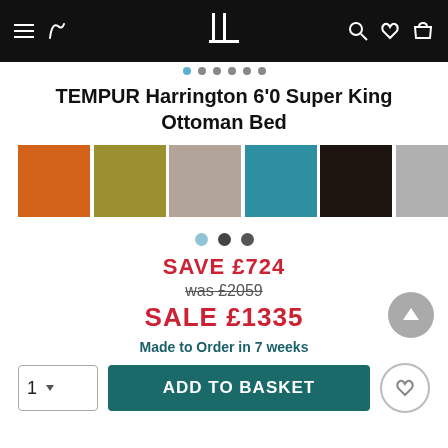Navigation bar with logo, menu, phone, search, wishlist, basket icons
TEMPUR Harrington 6'0 Super King Ottoman Bed
[Figure (illustration): Color swatches row: orange, olive/yellow, taupe/beige, teal/blue, dark espresso, light grey]
SAVE £724
was £2059
SALE £1335
Made to Order in 7 weeks
1
ADD TO BASKET